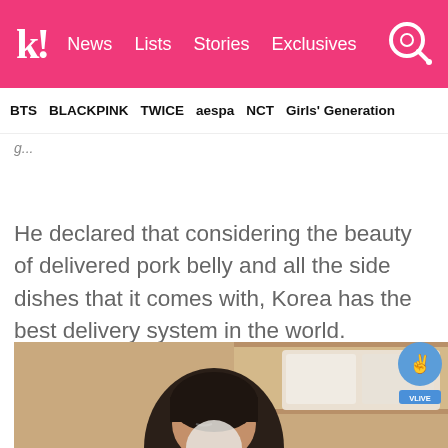k! News Lists Stories Exclusives
BTS BLACKPINK TWICE aespa NCT Girls' Generation
He declared that considering the beauty of delivered pork belly and all the side dishes that it comes with, Korea has the best delivery system in the world.
[Figure (photo): Person with dark hair looking down in a warmly lit room with white pillows/bed visible, V LIVE watermark in top right corner]